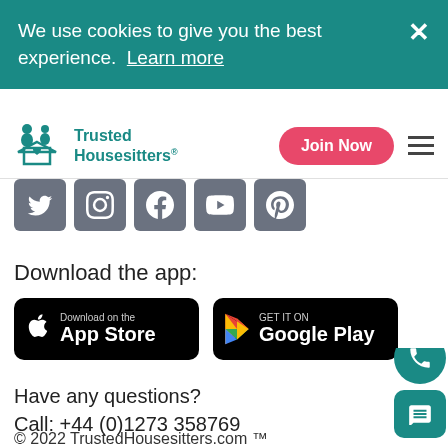We use cookies to give you the best experience.  Learn more
[Figure (logo): Trusted Housesitters logo with teal icon and text]
[Figure (illustration): Social media icons: Twitter, Instagram, Facebook, YouTube, Pinterest]
Download the app:
[Figure (illustration): App Store download button]
[Figure (illustration): Google Play download button]
Have any questions?
Call: +44 (0)1273 358769
© 2022 TrustedHousesitters.com ™
Terms of service, Privacy